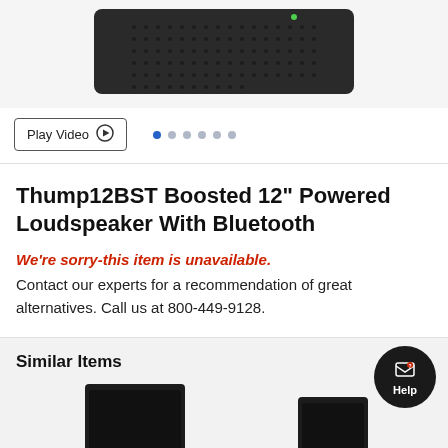[Figure (photo): Black powered loudspeaker product photo shown from a top-down angle against a light grey background]
Play Video ▶
Thump12BST Boosted 12" Powered Loudspeaker With Bluetooth
We're sorry-this item is unavailable.
Contact our experts for a recommendation of great alternatives. Call us at 800-449-9128.
Similar Items
[Figure (photo): Two black loudspeaker product images shown side by side at the bottom of the page]